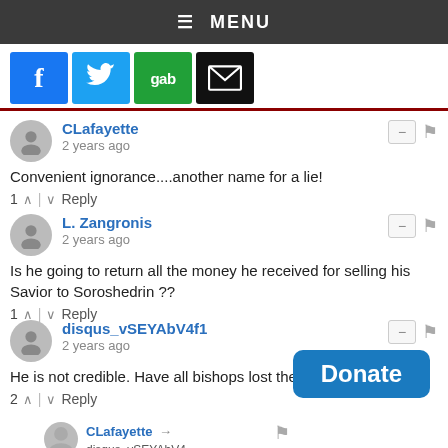≡ MENU
[Figure (infographic): Social media share buttons: Facebook (blue), Twitter (light blue), Gab (green), Email (black envelope)]
CLafayette
2 years ago
Convenient ignorance....another name for a lie!
1 ↑ | ↓ Reply
L. Zangronis
2 years ago
Is he going to return all the money he received for selling his Savior to Soroshedrin ??
1 ↑ | ↓ Reply
disqus_vSEYAbV4f1
2 years ago
He is not credible. Have all bishops lost their moral compass?
2 ↑ | ↓ Reply
CLafayette → disqus_vSEYAbV4...